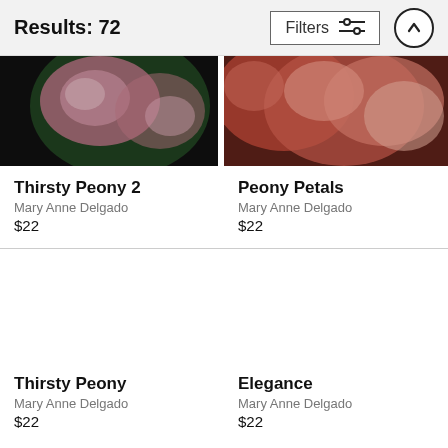Results: 72
[Figure (screenshot): Filters button with sliders icon and up-arrow circle button in header]
[Figure (photo): Close-up photo of pink peony flower buds on dark background - Thirsty Peony 2]
Thirsty Peony 2
Mary Anne Delgado
$22
[Figure (photo): Close-up photo of pink peony petals on warm background - Peony Petals]
Peony Petals
Mary Anne Delgado
$22
Thirsty Peony
Mary Anne Delgado
$22
Elegance
Mary Anne Delgado
$22